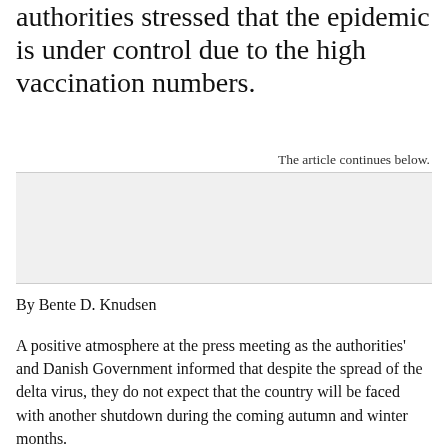authorities stressed that the epidemic is under control due to the high vaccination numbers.
The article continues below.
[Figure (other): Advertisement placeholder box with light grey background and horizontal border lines]
By Bente D. Knudsen
A positive atmosphere at the press meeting as the authorities' and Danish Government informed that despite the spread of the delta virus, they do not expect that the country will be faced with another shutdown during the coming autumn and winter months.